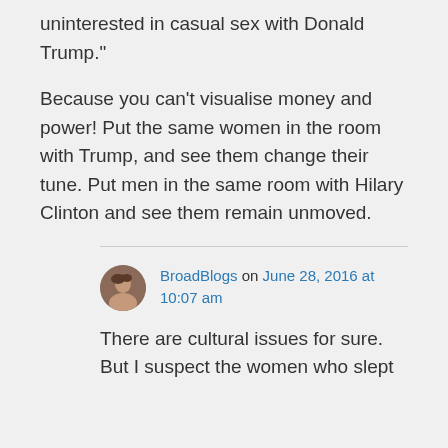uninterested in casual sex with Donald Trump."
Because you can't visualise money and power! Put the same women in the room with Trump, and see them change their tune. Put men in the same room with Hilary Clinton and see them remain unmoved.
BroadBlogs on June 28, 2016 at 10:07 am
There are cultural issues for sure. But I suspect the women who slept